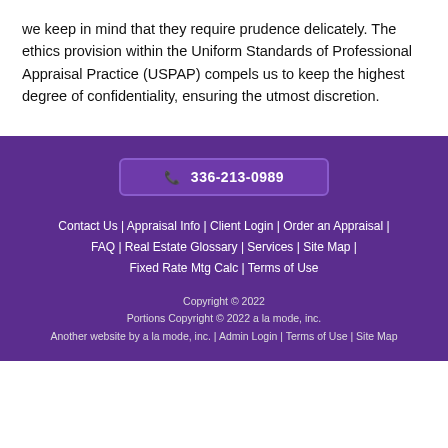we keep in mind that they require prudence delicately. The ethics provision within the Uniform Standards of Professional Appraisal Practice (USPAP) compels us to keep the highest degree of confidentiality, ensuring the utmost discretion.
📞 336-213-0989
Contact Us | Appraisal Info | Client Login | Order an Appraisal | FAQ | Real Estate Glossary | Services | Site Map | Fixed Rate Mtg Calc | Terms of Use
Copyright © 2022
Portions Copyright © 2022 a la mode, inc.
Another website by a la mode, inc. | Admin Login | Terms of Use | Site Map